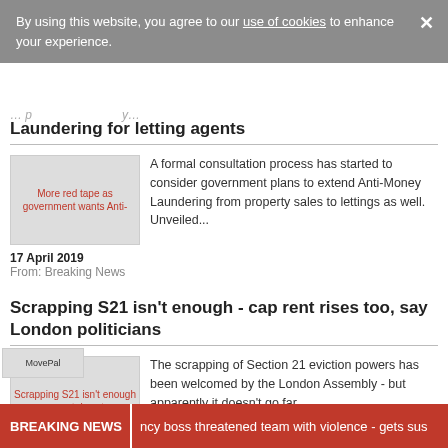By using this website, you agree to our use of cookies to enhance your experience. X
Laundering for letting agents
[Figure (photo): Thumbnail image for article: More red tape as government wants Anti-Money Laundering for letting agents]
A formal consultation process has started to consider government plans to extend Anti-Money Laundering from property sales to lettings as well. Unveiled...
17 April 2019
From: Breaking News
Scrapping S21 isn’t enough - cap rent rises too, say London politicians
[Figure (photo): Thumbnail image for article: Scrapping S21 isn’t enough - cap rent rises too]
The scrapping of Section 21 eviction powers has been welcomed by the London Assembly - but apparently it doesn’t go far...
[Figure (logo): MovePal logo]
BREAKING NEWS  ncy boss threatened team with violence - gets sus